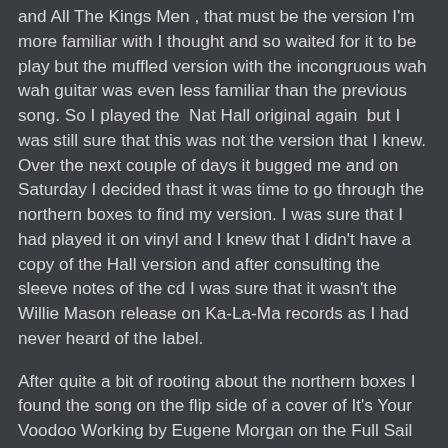and All The Kings Men , that must be the version I'm more familiar with I thought and so waited for it to be play but the muffled version with the incongruous wah wah guitar was even less familiar than the previous song. So I played the  Nat Hall original again  but I was still sure that this was not the version that I knew. Over the next couple of days it bugged me and on Saturday I decided thast it was time to go through the northern boxes to find my version. I was sure that I had played it on vinyl and I knew that I didn't have a copy of the Hall version and after consulting the sleeve notes of the cd I was sure that it wasn't the Willie Mason release on Ka-La-Ma records as I had never heard of the label.
After quite a bit of rooting about the northern boxes I found the song on the flip side of a cover of It's Your Voodoo Working by Eugene Morgan on the Full Sail label. This version is slightly slower in tempo, a bit more moody and I think superior not least due to the organ solo to the other two versions.
Eugene Morgan - Why